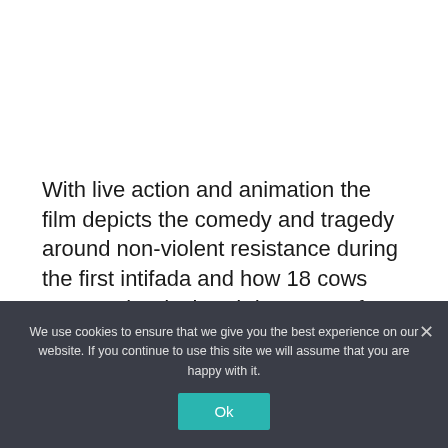With live action and animation the film depicts the comedy and tragedy around non-violent resistance during the first intifada and how 18 cows came to be declared dangerous for the security of the state of Israel.
We use cookies to ensure that we give you the best experience on our website. If you continue to use this site we will assume that you are happy with it.